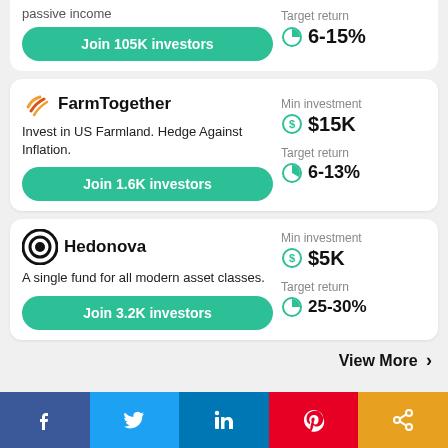passive income
Join 105K investors
Target return 6-15%
FarmTogether
Invest in US Farmland. Hedge Against Inflation.
Min investment $15K
Target return 6-13%
Join 1.6K investors
Hedonova
A single fund for all modern asset classes.
Min investment $5K
Target return 25-30%
Join 3.2K investors
View More
Facebook Twitter LinkedIn Pinterest Share